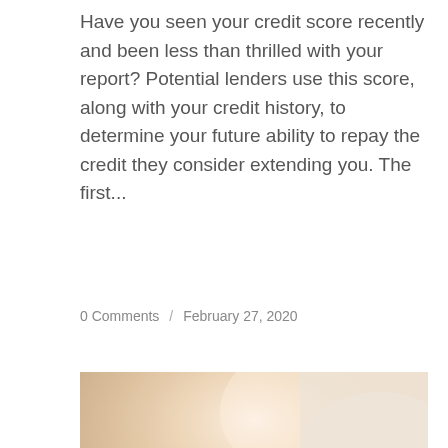Have you seen your credit score recently and been less than thrilled with your report? Potential lenders use this score, along with your credit history, to determine your future ability to repay the credit they consider extending you. The first...
0 Comments / February 27, 2020
[Figure (photo): Person sitting at a desk writing on a clipboard or paper, with a laptop visible in the background. A gold ring is visible on one hand. Warm, bright lighting with a soft blurred background.]